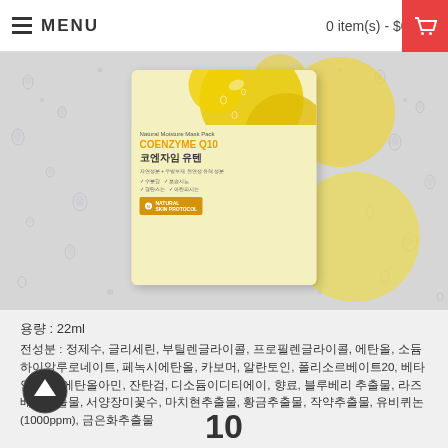≡ MENU   0 item(s) - $0.00
[Figure (photo): Product photo of Natural Moisture Mask Pack Coenzyme Q10 (코엔자임 유텐) sheet mask, shown against a water droplet background with yellow spherical bubbles]
용량 : 22ml
전성분 : 정제수, 글리세린, 부틸렌글라이콜, 프로필렌글라이콜, 에탄올, 소듐하이알루로네이트, 페녹시에탄올, 카보머, 알란토인, 폴리소르베이트20, 베타인, 트리에탄올아민, 잔탄검, 디소듐이디티에이, 향료, 블루베리 추출물, 라즈베리추출물, 서양장미꽃수, 마치현추출물, 황금추출물, 작약추출물, 유비퀴논(1000ppm), 금은화추출물